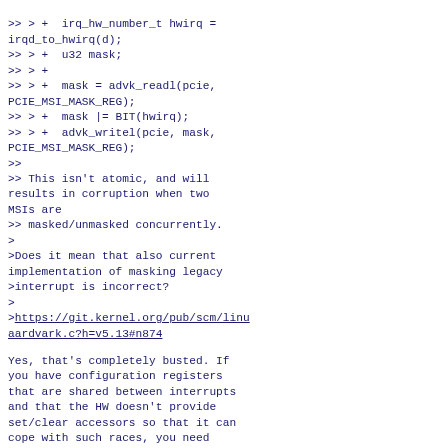>> > +  irq_hw_number_t hwirq =
irqd_to_hwirq(d);
>> > +  u32 mask;
>> > +
>> > +  mask = advk_readl(pcie,
PCIE_MSI_MASK_REG);
>> > +  mask |= BIT(hwirq);
>> > +  advk_writel(pcie, mask,
PCIE_MSI_MASK_REG);
>>
>> This isn't atomic, and will
results in corruption when two MSIs are
>> masked/unmasked concurrently.
>
>Does it mean that also current
implementation of masking legacy
>interrupt is incorrect?
>
>https://git.kernel.org/pub/scm/linu
aardvark.c?h=v5.13#n874
Yes, that's completely busted. If
you have configuration registers
that are shared between interrupts
and that the HW doesn't provide
set/clear accessors so that it can
cope with such races, you need
mutual exclusion.
Would think people would have...